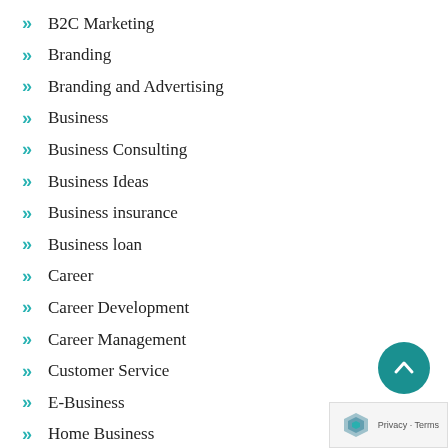B2C Marketing
Branding
Branding and Advertising
Business
Business Consulting
Business Ideas
Business insurance
Business loan
Career
Career Development
Career Management
Customer Service
E-Business
Home Business